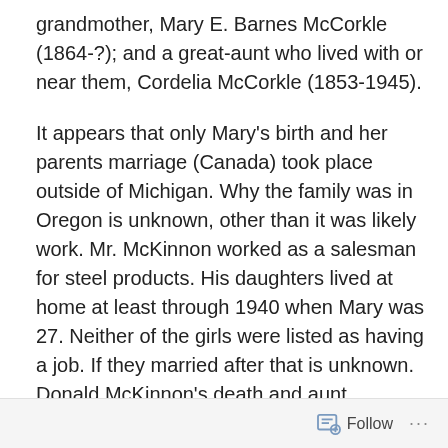grandmother, Mary E. Barnes McCorkle (1864-?); and a great-aunt who lived with or near them, Cordelia McCorkle (1853-1945).
It appears that only Mary's birth and her parents marriage (Canada) took place outside of Michigan. Why the family was in Oregon is unknown, other than it was likely work. Mr. McKinnon worked as a salesman for steel products. His daughters lived at home at least through 1940 when Mary was 27. Neither of the girls were listed as having a job. If they married after that is unknown. Donald McKinnon's death and aunt Cordelia's were confirmed through the Social Security Death Index and Find A Grave.  I can't find when/where wife Dorothy passed away. But there are University of Michigan year books from 1910 that
Follow ···